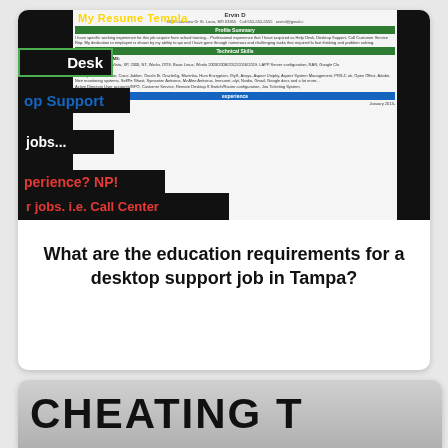[Figure (screenshot): Collage screenshot showing a resume template for desktop support jobs with overlaid text strips reading 'Desk', 'op Support', 'jobs...', 'perience? NP!', 'r jobs. i.e. Call Center', and a yellow title 'My Resume Template']
What are the education requirements for a desktop support job in Tampa?
[Figure (screenshot): Partial screenshot showing the word 'CHEATING T' in large bold black text on a grey gradient background]